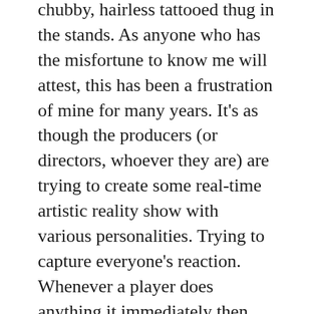chubby, hairless tattooed thug in the stands. As anyone who has the misfortune to know me will attest, this has been a frustration of mine for many years. It's as though the producers (or directors, whoever they are) are trying to create some real-time artistic reality show with various personalities. Trying to capture everyone's reaction. Whenever a player does anything it immediately then tracks back to follow the player –even if the play is proceeding somewhere else on the pitch. Why can't they simply let us watch the action on the pitch?
Oh, I feel just a little better now. For one minute there I nearly forgot my